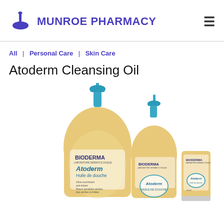MUNROE PHARMACY
All | Personal Care | Skin Care
Atoderm Cleansing Oil
[Figure (photo): Three Bioderma Atoderm Huile de douche (cleansing oil) products in different sizes: a large pump bottle, a medium pump bottle, and a small tube, all with teal/blue pump tops and golden/amber liquid visible through the packaging.]